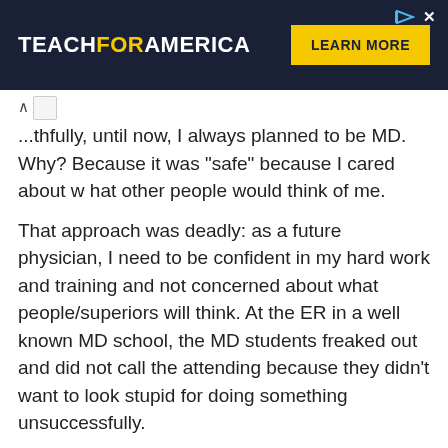[Figure (screenshot): Teach For America advertisement banner with dark navy background, white bold text reading TEACHFORAMERICA with FOR in yellow, and a yellow LEARN MORE button on the right side. Small play and X icons in top right corner.]
...thfully, until now, I always planned to be MD. Why? Because it was "safe" because I cared about w hat other people would think of me.
That approach was deadly: as a future physician, I need to be confident in my hard work and training and not concerned about what people/superiors will think. At the ER in a well known MD school, the MD students freaked out and did not call the attending because they didn't want to look stupid for doing something unsuccessfully.
As a doctor, it should never be about how it